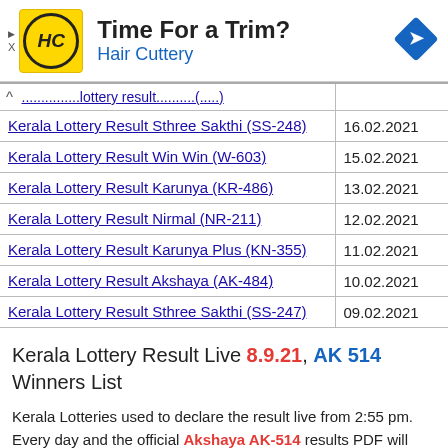[Figure (other): Advertisement banner for Hair Cuttery with logo, tagline 'Time For a Trim?' and navigation arrow icon]
| Lottery Result | Date |
| --- | --- |
| Kerala Lottery Result Sthree Sakthi (SS-248) | 16.02.2021 |
| Kerala Lottery Result Win Win (W-603) | 15.02.2021 |
| Kerala Lottery Result Karunya (KR-486) | 13.02.2021 |
| Kerala Lottery Result Nirmal (NR-211) | 12.02.2021 |
| Kerala Lottery Result Karunya Plus (KN-355) | 11.02.2021 |
| Kerala Lottery Result Akshaya (AK-484) | 10.02.2021 |
| Kerala Lottery Result Sthree Sakthi (SS-247) | 09.02.2021 |
Kerala Lottery Result Live 8.9.21, AK 514 Winners List
Kerala Lotteries used to declare the result live from 2:55 pm. Every day and the official Akshaya AK-514 results PDF will